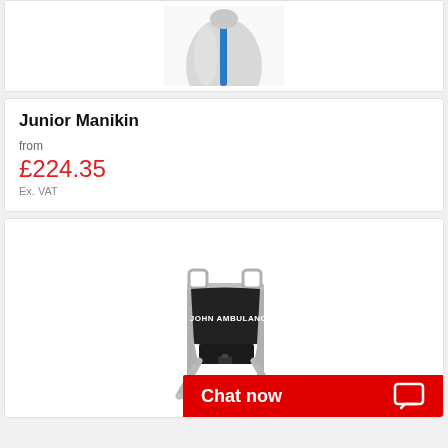[Figure (photo): Top portion of a Junior Manikin product image showing a grey/white torso with blue stripe, cropped at top of page]
Junior Manikin
from
£224.35
Ex. VAT
[Figure (photo): An evacuation/stair chair with black fabric seat and back marked 'St. John Ambulance' in white text, silver/aluminium frame with wheels, shown on white background]
Chat now